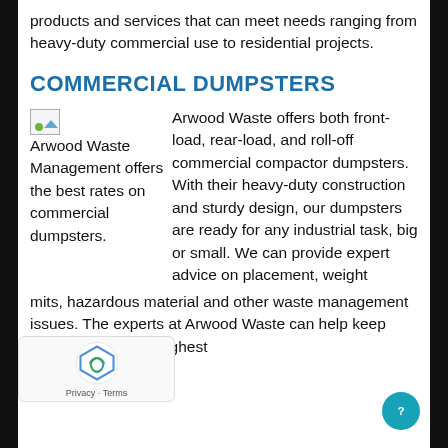products and services that can meet needs ranging from heavy-duty commercial use to residential projects.
COMMERCIAL DUMPSTERS
[Figure (illustration): Arwood Waste Management logo/image placeholder with broken image icon]
Arwood Waste Management offers the best rates on commercial dumpsters.
Arwood Waste offers both front-load, rear-load, and roll-off commercial compactor dumpsters. With their heavy-duty construction and sturdy design, our dumpsters are ready for any industrial task, big or small. We can provide expert advice on placement, weight
mits, hazardous material and other waste management issues. The experts at Arwood Waste can help keep your site up to the highest